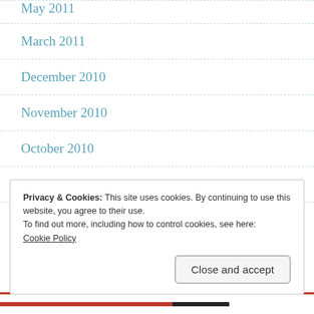May 2011
March 2011
December 2010
November 2010
October 2010
September 2010
Privacy & Cookies: This site uses cookies. By continuing to use this website, you agree to their use.
To find out more, including how to control cookies, see here:
Cookie Policy
Close and accept